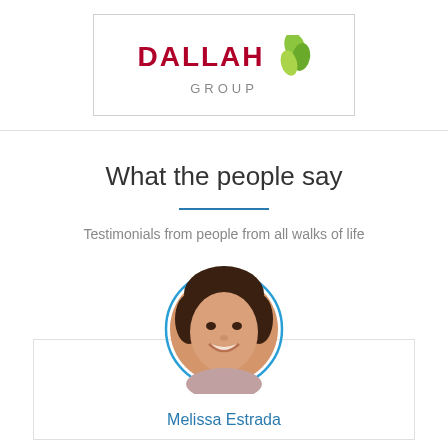[Figure (logo): Dallah Group logo with red text DALLAH and green leaf icon, subtitle GROUP in gray]
What the people say
Testimonials from people from all walks of life
[Figure (photo): Circular portrait photo of Melissa Estrada with blue circular border]
Melissa Estrada